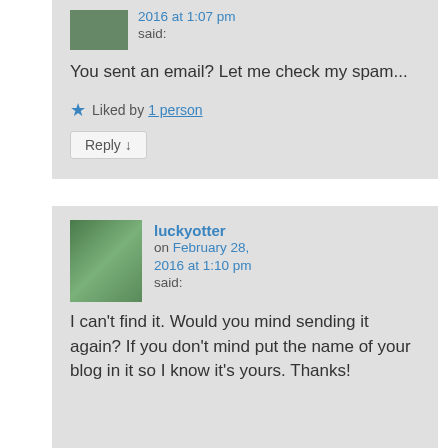2016 at 1:07 pm said:
You sent an email? Let me check my spam...
★ Liked by 1 person
Reply ↓
luckyotter on February 28, 2016 at 1:10 pm said:
I can't find it. Would you mind sending it again? If you don't mind put the name of your blog in it so I know it's yours. Thanks!